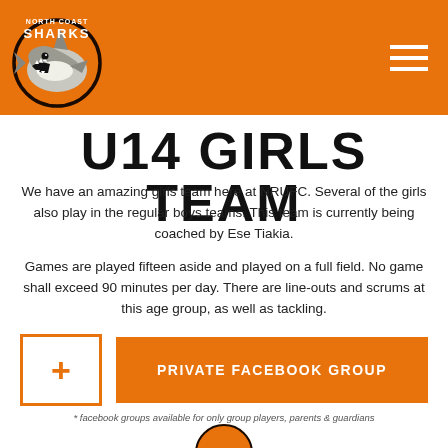[Figure (logo): North Coast Sharks rugby union football club logo - shark mascot in orange circle with text]
U14 GIRLS TEAM
We have an amazing girls team here at NRUFC. Several of the girls also play in the regular boys teams. This team is currently being coached by Ese Tiakia.
Games are played fifteen aside and played on a full field. No game shall exceed 90 minutes per day. There are line-outs and scrums at this age group, as well as tackling.
PRIVATE FACEBOOK GROUP
* facebook groups available for only group players, parents & guardians